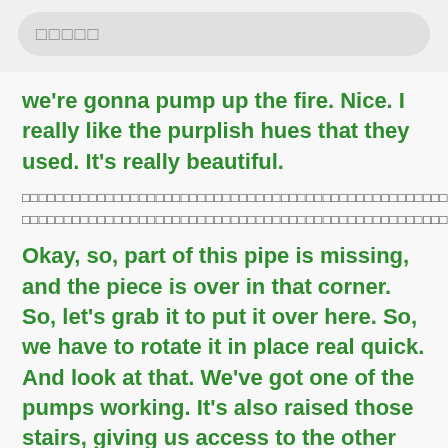□□□□□
we're gonna pump up the fire. Nice. I really like the purplish hues that they used. It's really beautiful.
□□□□□□□□□□□□□□□□□□□□□□□□□□□□□□□□□□□□□□□□□□□□□□□□□□□□□□□□□□□□□□□□□□□□□□□□□□□□□□□□□□□□□□□□□□□□□□□□□□□□□□□□□□□□□□□□□□□□□□□□□□□□□□□□□□□□□□□□□□□□□□□□□□□□□□□□□□□□□□□□□□□□
Okay, so, part of this pipe is missing, and the piece is over in that corner. So, let's grab it to put it over here. So, we have to rotate it in place real quick. And look at that. We've got one of the pumps working. It's also raised those stairs, giving us access to the other side of the room. The developers from Hello Games mentioned